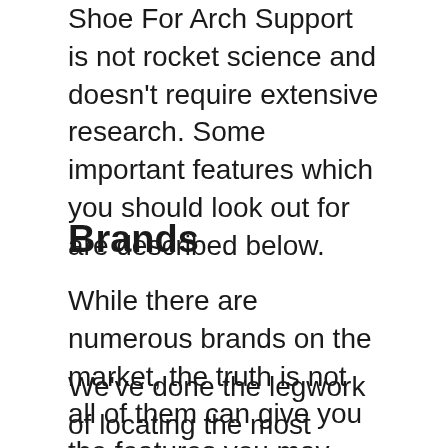Shoe For Arch Support is not rocket science and doesn't require extensive research. Some important features which you should look out for are described below.
Brands
While there are numerous brands on the market, the truth is not all of them can give you the features you may need.
We've done the legwork of locating the most reputable brands around for you. Choosing from these, you'll be